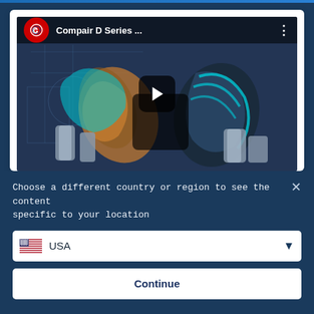[Figure (screenshot): YouTube-style video thumbnail showing Compair D Series compressor internal components — rotating screws, pistons, cyan and orange highlighted parts on a dark blue technical blueprint background. Video title reads 'Compair D Series ...' with YouTube logo and three-dot menu. A play button is centered on the thumbnail.]
Choose a different country or region to see the content specific to your location
USA
Continue